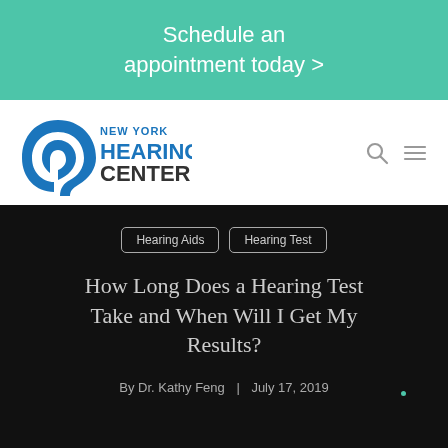Schedule an appointment today >
[Figure (logo): New York Hearing Center logo with ear graphic and text]
Hearing Aids
Hearing Test
How Long Does a Hearing Test Take and When Will I Get My Results?
By Dr. Kathy Feng | July 17, 2019